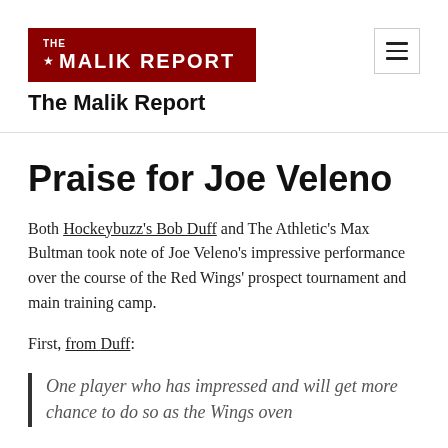THE MALIK REPORT
The Malik Report
Praise for Joe Veleno
Both Hockeybuzz's Bob Duff and The Athletic's Max Bultman took note of Joe Veleno's impressive performance over the course of the Red Wings' prospect tournament and main training camp.
First, from Duff:
One player who has impressed and will get more chance to do so as the Wings oven...